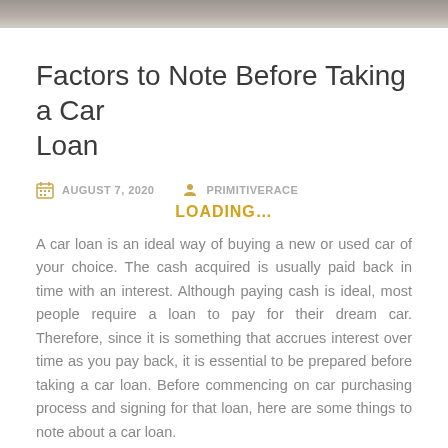[Figure (photo): Gray/brown textured background image strip at the top of the page]
Factors to Note Before Taking a Car Loan
AUGUST 7, 2020  PRIMITIVERACE
LOADING...
A car loan is an ideal way of buying a new or used car of your choice. The cash acquired is usually paid back in time with an interest. Although paying cash is ideal, most people require a loan to pay for their dream car. Therefore, since it is something that accrues interest over time as you pay back, it is essential to be prepared before taking a car loan. Before commencing on car purchasing process and signing for that loan, here are some things to note about a car loan.